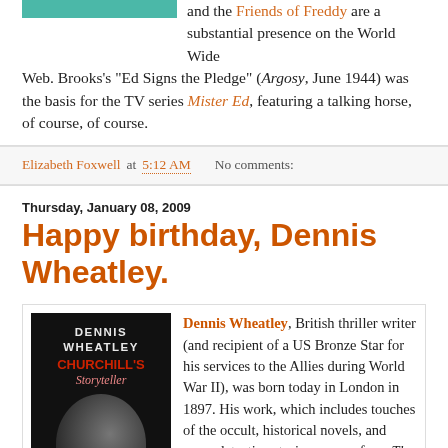and the Friends of Freddy are a substantial presence on the World Wide Web. Brooks's "Ed Signs the Pledge" (Argosy, June 1944) was the basis for the TV series Mister Ed, featuring a talking horse, of course, of course.
Elizabeth Foxwell at 5:12 AM   No comments:
Thursday, January 08, 2009
Happy birthday, Dennis Wheatley.
[Figure (photo): Book cover of 'Dennis Wheatley: Churchill's Storyteller' by Craig Cabell, showing a black and white photo of Dennis Wheatley and the book title in bold text on dark background]
Dennis Wheatley, British thriller writer (and recipient of a US Bronze Star for his services to the Allies during World War II), was born today in London in 1897. His work, which includes touches of the occult, historical novels, and some detective stories, ranges from The Forbidden Territory (1933, film 1938), The Devil Rides Out (1935; film 1968, with a screenplay by Richard